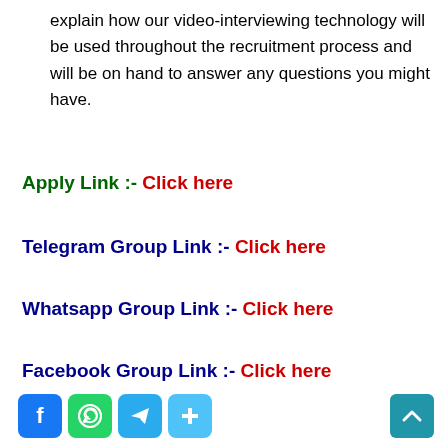explain how our video-interviewing technology will be used throughout the recruitment process and will be on hand to answer any questions you might have.
Apply Link :- Click here
Telegram Group Link :- Click here
Whatsapp Group Link :- Click here
Facebook Group Link :- Click here
[Figure (infographic): Social media share icons: Facebook (blue), WhatsApp (green), Telegram (light blue), Plus/share (light blue), and a scroll-to-top arrow button (teal) on the right.]